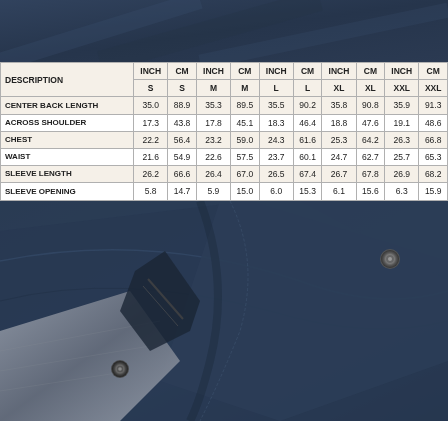[Figure (photo): Close-up of navy blue jacket fabric showing snap buttons and zipper detail, top portion]
| DESCRIPTION | INCH S | CM S | INCH M | CM M | INCH L | CM L | INCH XL | CM XL | INCH XXL | CM XXL |
| --- | --- | --- | --- | --- | --- | --- | --- | --- | --- | --- |
| CENTER BACK LENGTH | 35.0 | 88.9 | 35.3 | 89.5 | 35.5 | 90.2 | 35.8 | 90.8 | 35.9 | 91.3 |
| ACROSS SHOULDER | 17.3 | 43.8 | 17.8 | 45.1 | 18.3 | 46.4 | 18.8 | 47.6 | 19.1 | 48.6 |
| CHEST | 22.2 | 56.4 | 23.2 | 59.0 | 24.3 | 61.6 | 25.3 | 64.2 | 26.3 | 66.8 |
| WAIST | 21.6 | 54.9 | 22.6 | 57.5 | 23.7 | 60.1 | 24.7 | 62.7 | 25.7 | 65.3 |
| SLEEVE LENGTH | 26.2 | 66.6 | 26.4 | 67.0 | 26.5 | 67.4 | 26.7 | 67.8 | 26.9 | 68.2 |
| SLEEVE OPENING | 5.8 | 14.7 | 5.9 | 15.0 | 6.0 | 15.3 | 6.1 | 15.6 | 6.3 | 15.9 |
[Figure (photo): Close-up of navy blue jacket showing snap button closure, zipper, and grey lining detail, bottom portion]